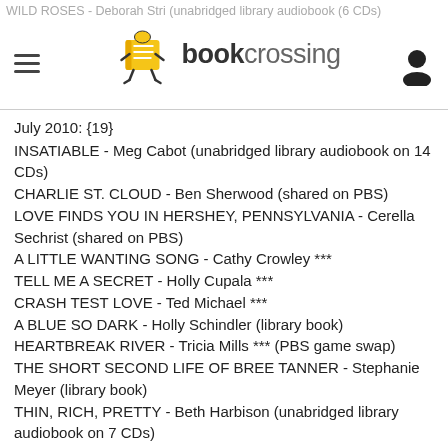WILD ROSES - Deborah Stri (unabridged library audiobook (6 CDs)
[Figure (logo): BookCrossing logo with book character and text 'bookcrossing']
July 2010: {19}
INSATIABLE - Meg Cabot (unabridged library audiobook on 14 CDs)
CHARLIE ST. CLOUD - Ben Sherwood (shared on PBS)
LOVE FINDS YOU IN HERSHEY, PENNSYLVANIA - Cerella Sechrist (shared on PBS)
A LITTLE WANTING SONG - Cathy Crowley ***
TELL ME A SECRET - Holly Cupala ***
CRASH TEST LOVE - Ted Michael ***
A BLUE SO DARK - Holly Schindler (library book)
HEARTBREAK RIVER - Tricia Mills *** (PBS game swap)
THE SHORT SECOND LIFE OF BREE TANNER - Stephanie Meyer (library book)
THIN, RICH, PRETTY - Beth Harbison (unabridged library audiobook on 7 CDs)
TWEET HEART - Elizabeth Rudnick (shared on PBS)